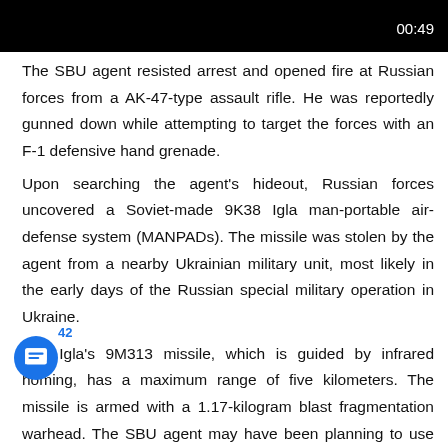[Figure (screenshot): Black video player header bar with timestamp 00:49 in white text at top right]
The SBU agent resisted arrest and opened fire at Russian forces from a AK-47-type assault rifle. He was reportedly gunned down while attempting to target the forces with an F-1 defensive hand grenade.
Upon searching the agent's hideout, Russian forces uncovered a Soviet-made 9K38 Igla man-portable air-defense system (MANPADs). The missile was stolen by the agent from a nearby Ukrainian military unit, most likely in the early days of the Russian special military operation in Ukraine.
The Igla's 9M313 missile, which is guided by infrared homing, has a maximum range of five kilometers. The missile is armed with a 1.17-kilogram blast fragmentation warhead. The SBU agent may have been planning to use the missile against Russian warplanes, or to sell it on the black market.